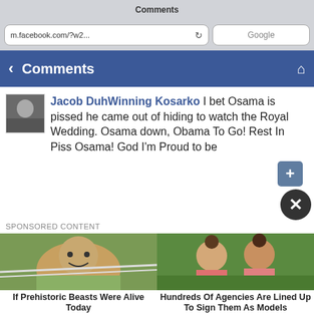Comments
m.facebook.com/?w2... Google
Comments
Jacob DuhWinning Kosarko I bet Osama is pissed he came out of hiding to watch the Royal Wedding. Osama down, Obama To Go! Rest In Piss Osama! God I'm Proud to be
SPONSORED CONTENT
[Figure (photo): Man smiling in a hammock outdoors]
If Prehistoric Beasts Were Alive Today
[Figure (photo): Two young girls with hair in buns outdoors]
Hundreds Of Agencies Are Lined Up To Sign Them As Models